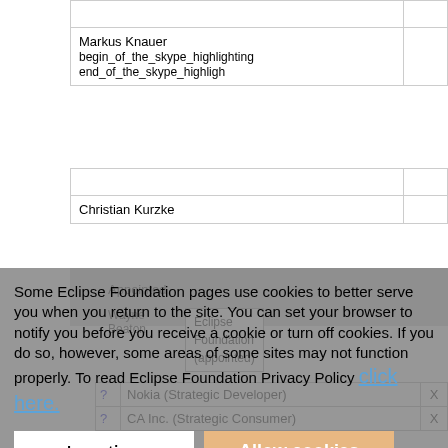| Markus Knauer |  |
| begin_of_the_skype_highlighting     end_of_the_skype_highlight |  |
| Christian Kurzke |  |
Appointed
Wayne Beaton
Eclipse Foundation (appointed)
Some Eclipse Foundation pages use cookies to better serve you when you return to the site. You can set your browser to notify you before you receive a cookie or turn off cookies. If you do so, however, some areas of some sites may not function properly. To read Eclipse Foundation Privacy Policy click here.
Note: feel free to correct any errors/omissions in above attendance record.
Y = Yes, attended
N = No, did not
R = regrets sent ahead of time
| ? | Nokia (Strategic Developer) | X |
| ? | CA Inc. (Strategic Consumer) | X |